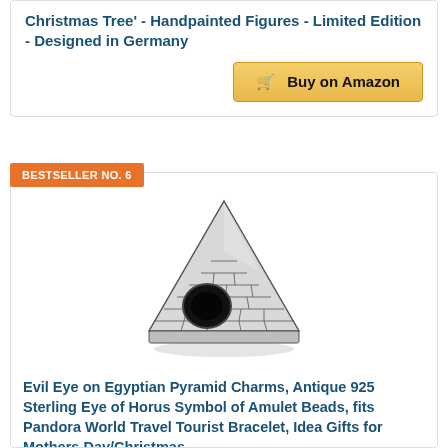Christmas Tree' - Handpainted Figures - Limited Edition - Designed in Germany
Buy on Amazon
BESTSELLER NO. 6
[Figure (photo): Silver pyramid-shaped charm bead with Eye of Horus symbol, showing brick-like texture and a central circular hole for bracelet threading]
Evil Eye on Egyptian Pyramid Charms, Antique 925 Sterling Eye of Horus Symbol of Amulet Beads, fits Pandora World Travel Tourist Bracelet, Idea Gifts for Mothers Day/Christmas